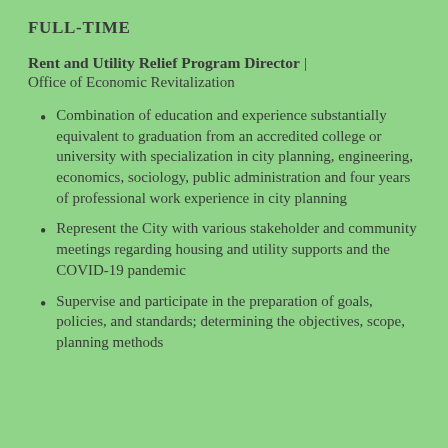FULL-TIME
Rent and Utility Relief Program Director | Office of Economic Revitalization
Combination of education and experience substantially equivalent to graduation from an accredited college or university with specialization in city planning, engineering, economics, sociology, public administration and four years of professional work experience in city planning
Represent the City with various stakeholder and community meetings regarding housing and utility supports and the COVID-19 pandemic
Supervise and participate in the preparation of goals, policies, and standards; determining the objectives, scope, planning methods